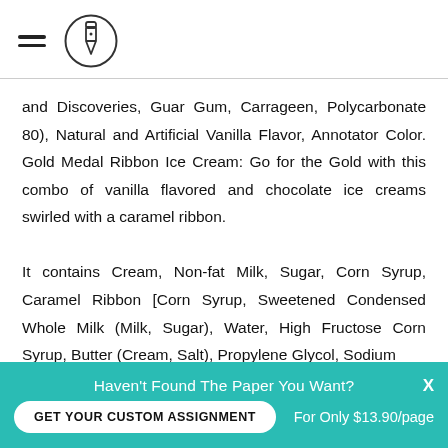[Figure (logo): Hamburger menu icon and circular pencil/pen logo mark in the page header]
and Discoveries, Guar Gum, Carrageen, Polycarbonate 80), Natural and Artificial Vanilla Flavor, Annotator Color. Gold Medal Ribbon Ice Cream: Go for the Gold with this combo of vanilla flavored and chocolate ice creams swirled with a caramel ribbon.

It contains Cream, Non-fat Milk, Sugar, Corn Syrup, Caramel Ribbon [Corn Syrup, Sweetened Condensed Whole Milk (Milk, Sugar), Water, High Fructose Corn Syrup, Butter (Cream, Salt), Propylene Glycol, Sodium
Haven't Found The Paper You Want? GET YOUR CUSTOM ASSIGNMENT  For Only $13.90/page  X